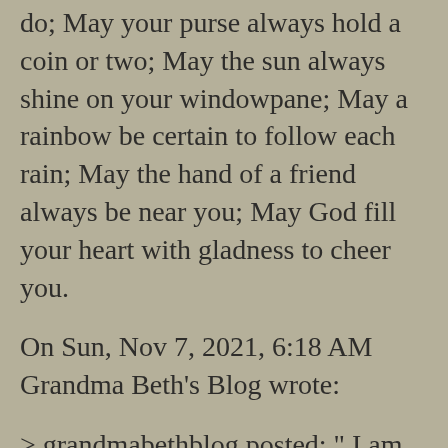do; May your purse always hold a coin or two; May the sun always shine on your windowpane; May a rainbow be certain to follow each rain; May the hand of a friend always be near you; May God fill your heart with gladness to cheer you.
On Sun, Nov 7, 2021, 6:18 AM Grandma Beth's Blog wrote:
> grandmabethblog posted: " I am astounded by how quickly the seasons come > and go. The older I get the shorter the seasons get. As I was out walking > in the fall sunshine on Friday, observing the falling leaves, I wondered > what happened to sun bathing, as well as stolid little b…